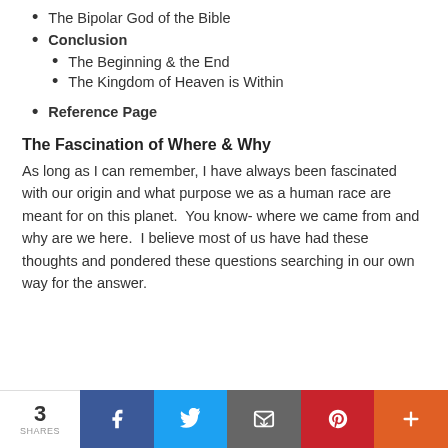The Bipolar God of the Bible
Conclusion
The Beginning & the End
The Kingdom of Heaven is Within
Reference Page
The Fascination of Where & Why
As long as I can remember, I have always been fascinated with our origin and what purpose we as a human race are meant for on this planet.  You know- where we came from and why are we here.  I believe most of us have had these thoughts and pondered these questions searching in our own way for the answer.
3 SHARES | Facebook | Twitter | Email | Pinterest | More